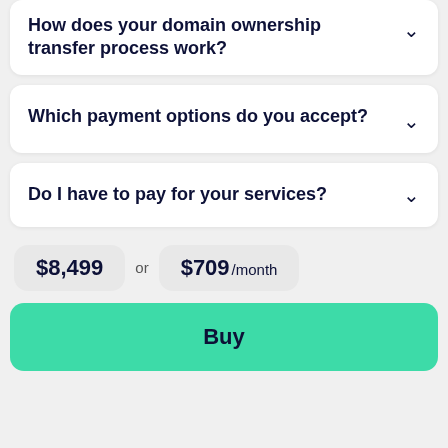How does your domain ownership transfer process work?
Which payment options do you accept?
Do I have to pay for your services?
$8,499 or $709 /month
Buy